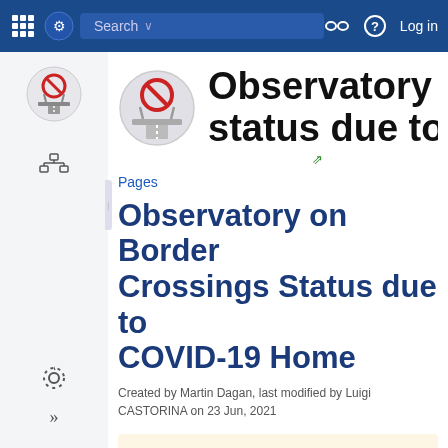Search  Log in
[Figure (screenshot): Circular icon showing a border crossing with a red prohibition sign (COVID-19 restriction icon)]
Observatory on Border Crossings status due to C…
Pages
Observatory on Border Crossings Status due to COVID-19 Home
Created by Martin Dagan, last modified by Luigi CASTORINA on 23 Jun, 2021
You are viewing an old version of this page. View the current version.